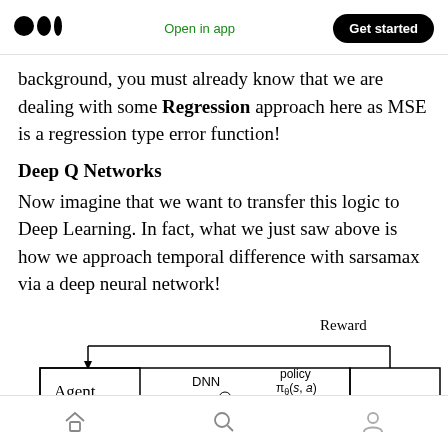Medium logo | Open in app | Get started
background, you must already know that we are dealing with some Regression approach here as MSE is a regression type error function!
Deep Q Networks
Now imagine that we want to transfer this logic to Deep Learning. In fact, what we just saw above is how we approach temporal difference with sarsamax via a deep neural network!
[Figure (schematic): Diagram showing Agent connected to DNN with policy π_θ(s, a), with Reward feedback loop arrow from top]
Home | Search | Profile icons